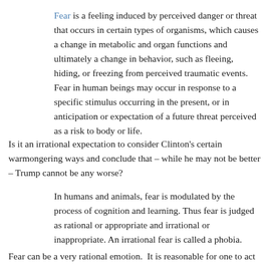Fear is a feeling induced by perceived danger or threat that occurs in certain types of organisms, which causes a change in metabolic and organ functions and ultimately a change in behavior, such as fleeing, hiding, or freezing from perceived traumatic events. Fear in human beings may occur in response to a specific stimulus occurring in the present, or in anticipation or expectation of a future threat perceived as a risk to body or life.
Is it an irrational expectation to consider Clinton's certain warmongering ways and conclude that – while he may not be better – Trump cannot be any worse?
In humans and animals, fear is modulated by the process of cognition and learning. Thus fear is judged as rational or appropriate and irrational or inappropriate. An irrational fear is called a phobia.
Fear can be a very rational emotion.  It is reasonable for one to act